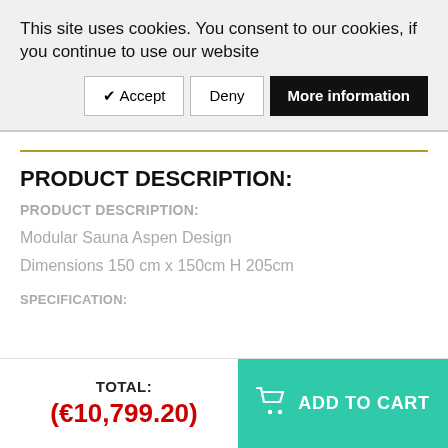This site uses cookies. You consent to our cookies, if you continue to use our website
✔ Accept | Deny | More information
PRODUCT DESCRIPTION:
PRODUCT DESCRIPTION:
Modular Sauna Aspen Design
Dimensions 150 cm x 150cm H 205cm
SPECIFICATION:
TOTAL: (€10,799.20)
ADD TO CART